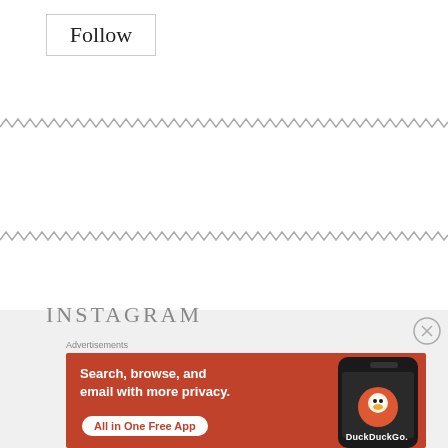Follow
[Figure (other): Zigzag/wavy decorative divider line 1]
[Figure (other): Zigzag/wavy decorative divider line 2]
INSTAGRAM
[Figure (other): Close/dismiss button (circled X)]
Advertisements
[Figure (other): DuckDuckGo advertisement banner: Search, browse, and email with more privacy. All in One Free App. Shows DuckDuckGo logo on a phone.]